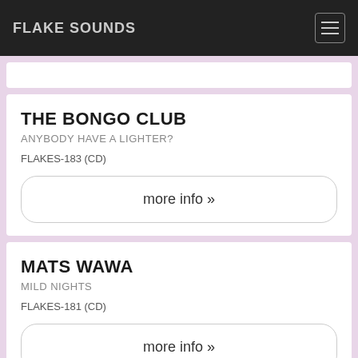FLAKE SOUNDS
THE BONGO CLUB
ANYBODY HAVE A LIGHTER?
FLAKES-183 (CD)
more info »
MATS WAWA
MILD NIGHTS
FLAKES-181 (CD)
more info »